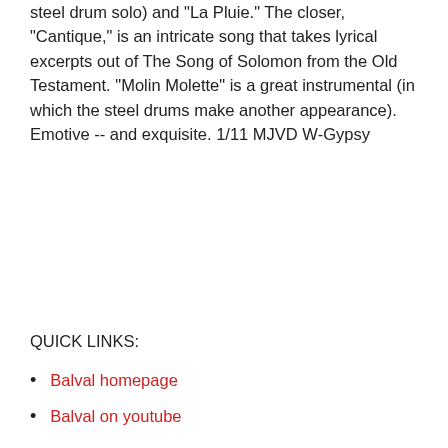steel drum solo) and "La Pluie." The closer, "Cantique," is an intricate song that takes lyrical excerpts out of The Song of Solomon from the Old Testament. "Molin Molette" is a great instrumental (in which the steel drums make another appearance). Emotive -- and exquisite. 1/11 MJVD W-Gypsy
QUICK LINKS:
Balval homepage
Balval on youtube
MORE REVIEWS TAGGED #WORLD
all reviews | all world reviews
reviewed 06/2011
reviewed 02/2006
reviewed 10/2008
reviewed 10/2013